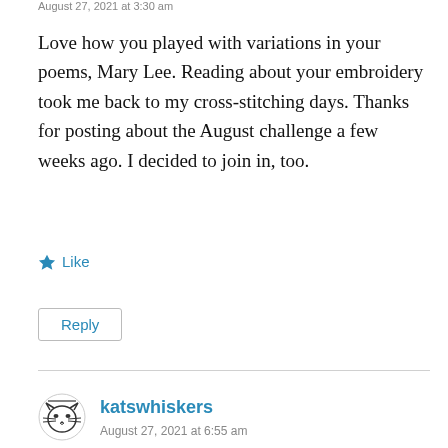August 27, 2021 at 3:30 am
Love how you played with variations in your poems, Mary Lee. Reading about your embroidery took me back to my cross-stitching days. Thanks for posting about the August challenge a few weeks ago. I decided to join in, too.
★ Like
Reply
katswhiskers
August 27, 2021 at 6:55 am